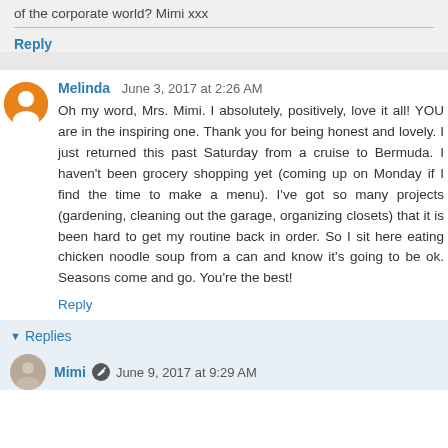of the corporate world? Mimi xxx
Reply
Melinda  June 3, 2017 at 2:26 AM
Oh my word, Mrs. Mimi. I absolutely, positively, love it all! YOU are in the inspiring one. Thank you for being honest and lovely. I just returned this past Saturday from a cruise to Bermuda. I haven't been grocery shopping yet (coming up on Monday if I find the time to make a menu). I've got so many projects (gardening, cleaning out the garage, organizing closets) that it is been hard to get my routine back in order. So I sit here eating chicken noodle soup from a can and know it's going to be ok. Seasons come and go. You're the best!
Reply
Replies
Mimi  June 9, 2017 at 9:29 AM